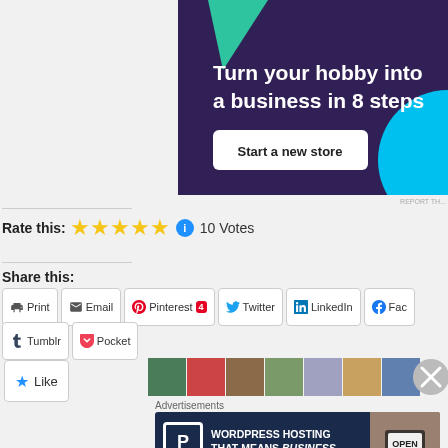[Figure (illustration): Advertisement banner: purple background with green triangle and blue circle decoration. Text: 'Turn your hobby into a business in 8 steps' with a white 'Start a new store' button.]
REPORT TH...
Rate this: ★★★★★ ℹ 10 Votes
Share this:
Print  Email  Pinterest 4  Twitter  LinkedIn  Fac...  Tumblr  Pocket
★ Like
[Figure (illustration): Row of user avatar thumbnails followed by a close X button]
Advertisements
[Figure (illustration): WordPress Hosting advertisement banner: dark navy background with P icon and text 'WORDPRESS HOSTING THAT MEANS BUSINESS.' with an OPEN sign photo on the right.]